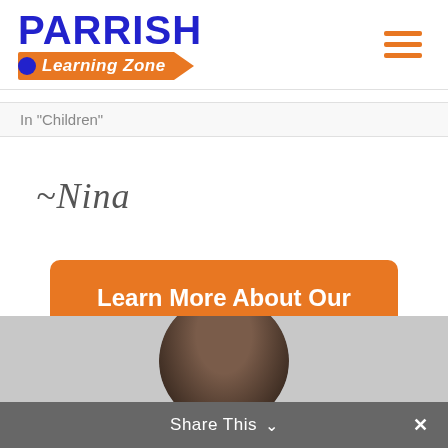[Figure (logo): Parrish Learning Zone logo with blue bold text 'PARRISH' and orange pencil-shaped banner reading 'Learning Zone' with a blue circle and orange arrow]
[Figure (other): Hamburger menu icon with three orange horizontal lines]
In "Children"
~Nina
Learn More About Our Tutoring Services
[Figure (photo): Circular cropped photo of a person, mostly showing dark hair from above, against a light background]
Share This ∨  ×